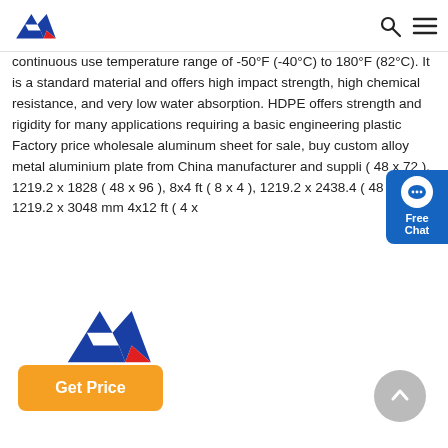AMA logo, search icon, menu icon
continuous use temperature range of -50°F (-40°C) to 180°F (82°C). It is a standard material and offers high impact strength, high chemical resistance, and very low water absorption. HDPE offers strength and rigidity for many applications requiring a basic engineering plastic Factory price wholesale aluminum sheet for sale, buy custom alloy metal aluminium plate from China manufacturer and suppli ( 48 x 72 ), 1219.2 x 1828 ( 48 x 96 ), 8x4 ft ( 8 x 4 ), 1219.2 x 2438.4 ( 48 x 120 ), 1219.2 x 3048 mm 4x12 ft ( 4 x
[Figure (logo): Get Price orange button]
[Figure (logo): AMA triangular logo large in footer area]
[Figure (other): Scroll to top circular grey button with upward arrow]